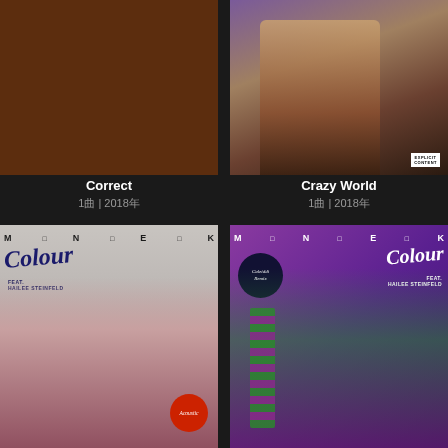[Figure (photo): Album art for 'Correct' - solid brown/dark reddish-brown background]
Correct
1曲 | 2018年
[Figure (photo): Album art for 'Crazy World' - portrait of a young Black man with dreadlocks against purple/brown tones, with Explicit advisory sticker]
Crazy World
1曲 | 2018年
[Figure (photo): MNEK 'Colour' feat. Hailee Steinfeld album cover - Acoustic version with MNEK and Hailee Steinfeld on grey/light background with red Acoustic badge]
[Figure (photo): MNEK 'Colour' feat. Hailee Steinfeld Caleiddi Remix album cover - purple/green background with MNEK in striped shirt]